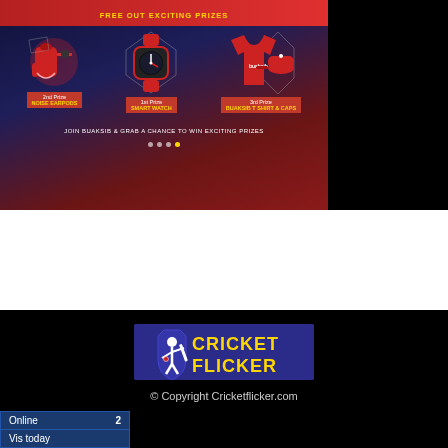[Figure (infographic): Promotional banner for BUAKSIB contest showing prizes: 1st Prize Smart Watch, 2nd Prize Noise Earpods, 3rd Prize BUAKSIB T Shirt & Caps. Dark blue and red background with product images. Text: JOIN BUAKSIB & GRAB A CHANCE TO WIN EXCITING PRIZES]
[Figure (logo): Cricket Flicker logo: blue background rectangle with white cricket batsman silhouette on left and yellow bold text CRICKET FLICKER on right]
© Copyright Cricketflicker.com
Online 2